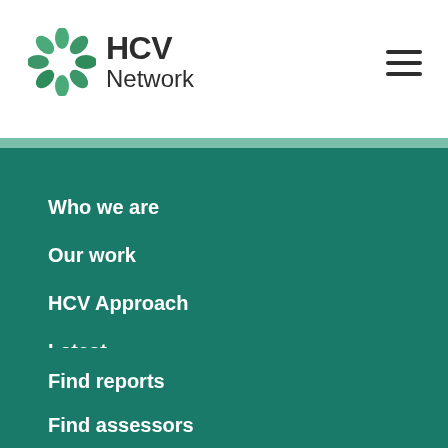[Figure (logo): HCV Network logo with circular leaf icon and bold HCV Network text]
Who we are
Our work
HCV Approach
Latest
Library
Find reports
Find assessors